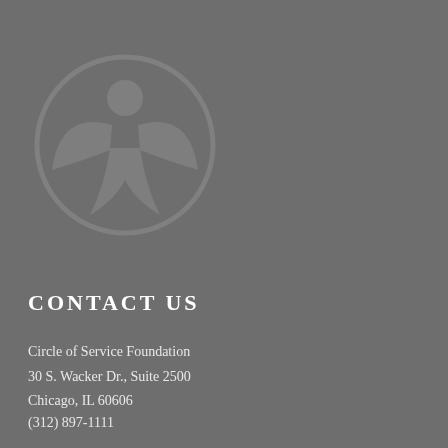[Figure (logo): Circle of Service Foundation logo: a circular outline containing a stylized human figure with arms raised, in a slightly lighter gray tone against the gray background]
CONTACT US
Circle of Service Foundation
30 S. Wacker Dr., Suite 2500
Chicago, IL 60606
(312) 897-1111